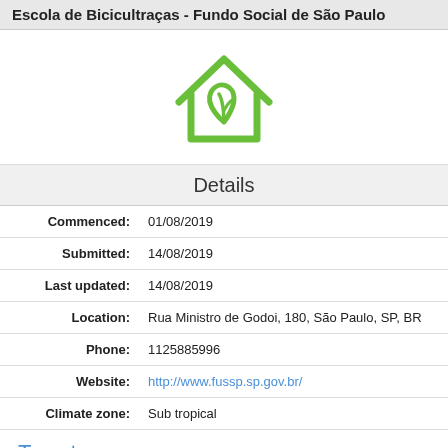Escola de Bicicultraças - Fundo Social de São Paulo
[Figure (logo): Green eco home icon with a leaf inside a house outline]
Details
| Commenced: | 01/08/2019 |
| Submitted: | 14/08/2019 |
| Last updated: | 14/08/2019 |
| Location: | Rua Ministro de Godoi, 180, São Paulo, SP, BR |
| Phone: | 1125885996 |
| Website: | http://www.fussp.sp.gov.br/ |
| Climate zone: | Sub tropical |
Tweet